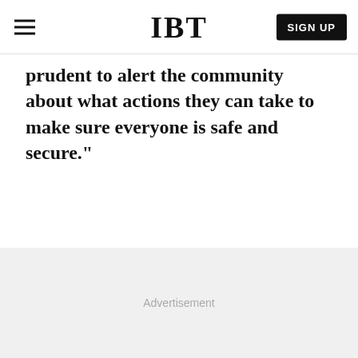IBT
prudent to alert the community about what actions they can take to make sure everyone is safe and secure."
[Figure (other): Advertisement placeholder area with light gray background and 'Advertisement' label]